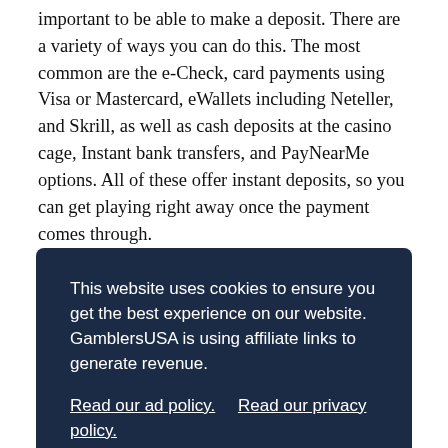important to be able to make a deposit. There are a variety of ways you can do this. The most common are the e-Check, card payments using Visa or Mastercard, eWallets including Neteller, and Skrill, as well as cash deposits at the casino cage, Instant bank transfers, and PayNearMe options. All of these offer instant deposits, so you can get playing right away once the payment comes through.
[partial text obscured by cookie banner] ...r to ...ns. ...ard ...go a
This website uses cookies to ensure you get the best experience on our website. GamblersUSA is using affiliate links to generate revenue. Read our ad policy. Read our privacy policy. Got it
pending period is passed, the time it takes for your